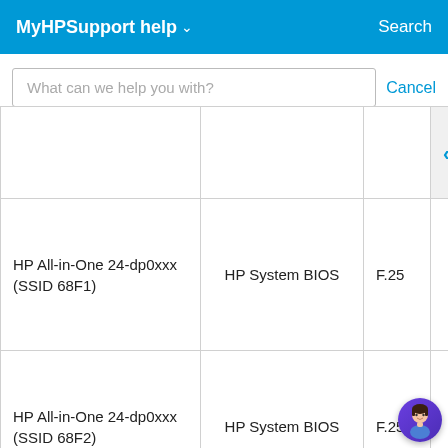MyHPSupport help   Search
What can we help you with?   Cancel
|  |  |  |  |
| --- | --- | --- | --- |
| HP All-in-One 24-dp0xxx (SSID 68F1) | HP System BIOS | F.25 |  |
| HP All-in-One 24-dp0xxx (SSID 68F2) | HP System BIOS | F.25 |  |
| HP All-in-One 24-dp0xxx (SSID 68F3) | HP System BIOS | F.25 |  |